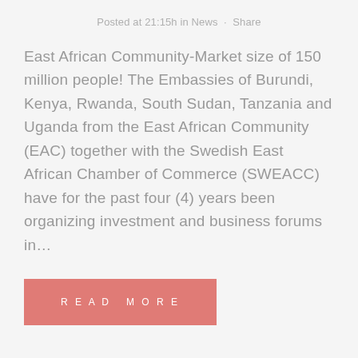Posted at 21:15h in News · Share
East African Community-Market size of 150 million people! The Embassies of Burundi, Kenya, Rwanda, South Sudan, Tanzania and Uganda from the East African Community (EAC) together with the Swedish East African Chamber of Commerce (SWEACC) have for the past four (4) years been organizing investment and business forums in…
READ MORE